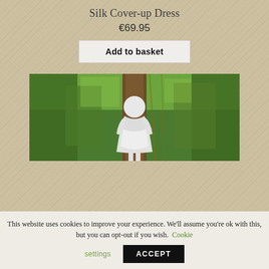Silk Cover-up Dress
€69.95
Add to basket
[Figure (photo): A white mannequin wearing a white silk cover-up dress displayed outdoors against a backdrop of green trees and a large tree trunk.]
This website uses cookies to improve your experience. We'll assume you're ok with this, but you can opt-out if you wish. Cookie settings  ACCEPT